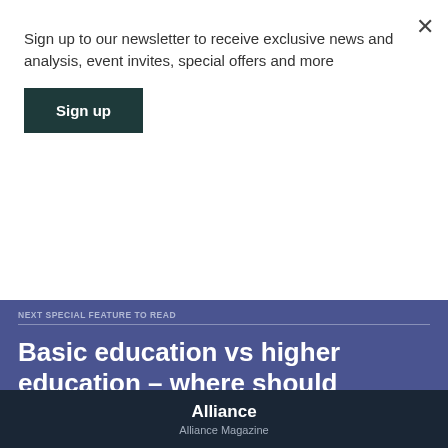Sign up to our newsletter to receive exclusive news and analysis, event invites, special offers and more
Sign up
×
NEXT SPECIAL FEATURE TO READ
Basic education vs higher education – where should support be going?
Rohini Nilekani and Suzanne Grant Lewis
1 March 2009
Alliance
Alliance Magazine